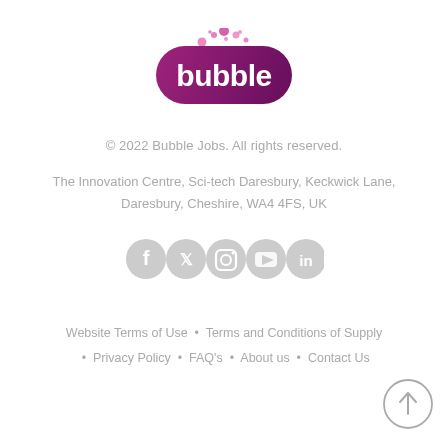[Figure (logo): Bubble Jobs logo with purple gradient bubble letters and pink bubbles floating above]
© 2022 Bubble Jobs. All rights reserved.
The Innovation Centre, Sci-tech Daresbury, Keckwick Lane, Daresbury, Cheshire, WA4 4FS, UK
[Figure (illustration): Row of social media icons: Facebook, Twitter, Instagram, YouTube, LinkedIn — all in light grey circular style]
Website Terms of Use • Terms and Conditions of Supply • Privacy Policy • FAQ's • About us • Contact Us